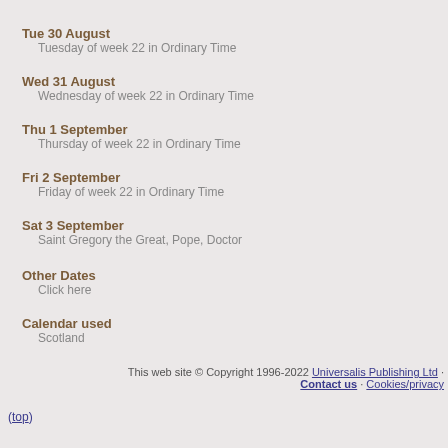Tue 30 August
    Tuesday of week 22 in Ordinary Time
Wed 31 August
    Wednesday of week 22 in Ordinary Time
Thu 1 September
    Thursday of week 22 in Ordinary Time
Fri 2 September
    Friday of week 22 in Ordinary Time
Sat 3 September
    Saint Gregory the Great, Pope, Doctor
Other Dates
    Click here
Calendar used
    Scotland
This web site © Copyright 1996-2022 Universalis Publishing Ltd · Contact us · Cookies/privacy
(top)